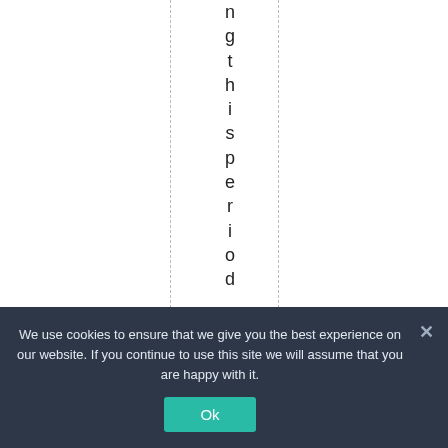ngthisperiod,becau
We use cookies to ensure that we give you the best experience on our website. If you continue to use this site we will assume that you are happy with it.